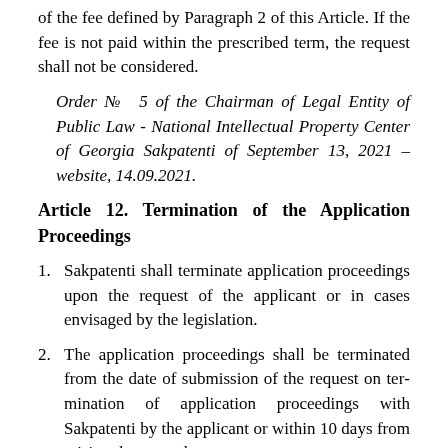of the fee defined by Paragraph 2 of this Article. If the fee is not paid within the prescribed term, the request shall not be considered.
Order № 5 of the Chairman of Legal Entity of Public Law - National Intellectual Property Center of Georgia Sakpatenti of September 13, 2021 – website, 14.09.2021.
Article 12. Termination of the Application Proceedings
Sakpatenti shall terminate application proceedings upon the request of the applicant or in cases envisaged by the legislation.
The application proceedings shall be terminated from the date of submission of the request on termination of application proceedings with Sakpatenti by the applicant or within 10 days from arising the grounds